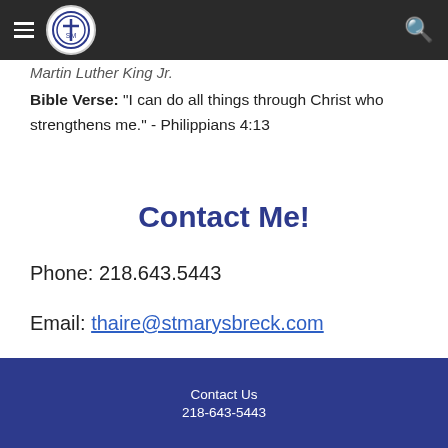St. Mary's Breck — navigation bar with logo
Martin Luther King Jr.
Bible Verse: "I can do all things through Christ who strengthens me." - Philippians 4:13
Contact Me!
Phone: 218.643.5443
Email: thaire@stmarysbreck.com
Contact Us
218-643-5443